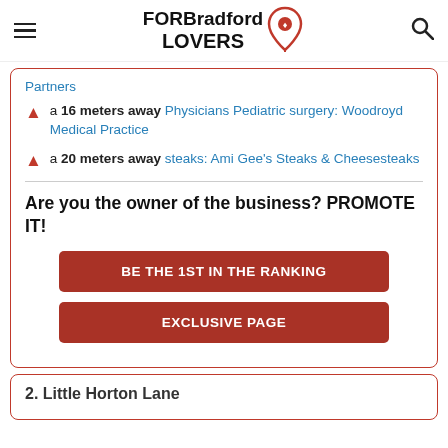FOR Bradford LOVERS
Partners
a 16 meters away Physicians Pediatric surgery: Woodroyd Medical Practice
a 20 meters away steaks: Ami Gee's Steaks & Cheesesteaks
Are you the owner of the business? PROMOTE IT!
BE THE 1ST IN THE RANKING
EXCLUSIVE PAGE
2. Little Horton Lane